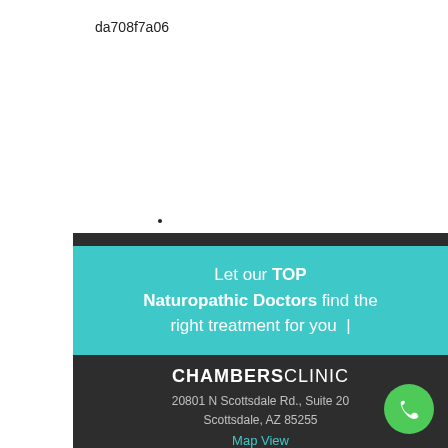da708f7a06
[Figure (infographic): Advertisement for Chambers Clinic featuring teal banner with text 'Let our TOP Naturopathic Doctors find the right treatment for you |' on a teal background, dark header bar, clinic name 'CHAMBERS CLINIC', address '20801 N Scottsdale Rd., Suite 20, Scottsdale, AZ 85255', 'Map View' link in teal, and a green phone button icon.]